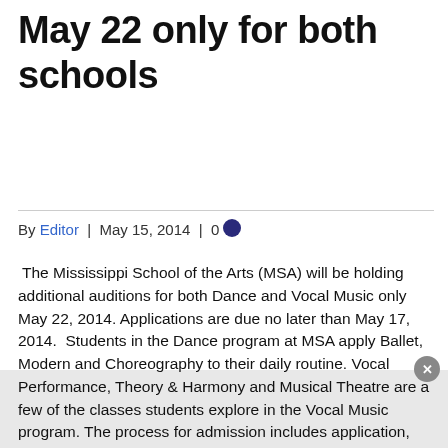May 22 only for both schools
By Editor | May 15, 2014 | 0
The Mississippi School of the Arts (MSA) will be holding additional auditions for both Dance and Vocal Music only May 22, 2014. Applications are due no later than May 17, 2014.  Students in the Dance program at MSA apply Ballet, Modern and Choreography to their daily routine. Vocal Performance, Theory & Harmony and Musical Theatre are a few of the classes students explore in the Vocal Music program. The process for admission includes application, audition and interview. Accepted students attend their Junior and Senior years at MSA. If you know of